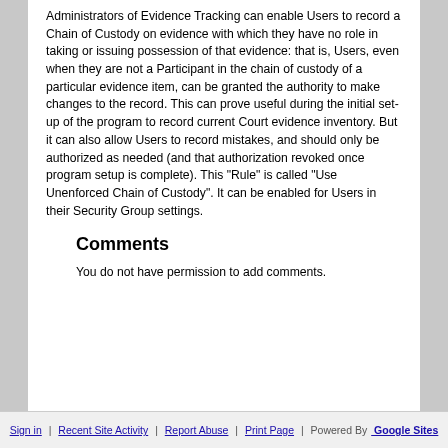Administrators of Evidence Tracking can enable Users to record a Chain of Custody on evidence with which they have no role in taking or issuing possession of that evidence: that is, Users, even when they are not a Participant in the chain of custody of a particular evidence item, can be granted the authority to make changes to the record. This can prove useful during the initial set-up of the program to record current Court evidence inventory. But it can also allow Users to record mistakes, and should only be authorized as needed (and that authorization revoked once program setup is complete). This "Rule" is called "Use Unenforced Chain of Custody". It can be enabled for Users in their Security Group settings.
Comments
You do not have permission to add comments.
Sign in | Recent Site Activity | Report Abuse | Print Page | Powered By Google Sites